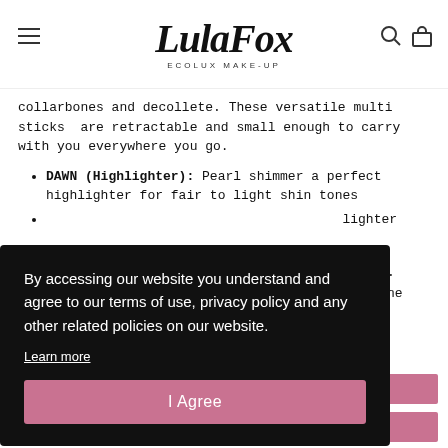LulaFox ECOLUX MAKE-UP
collarbones and decollete. These versatile multi sticks are retractable and small enough to carry with you everywhere you go.
DAWN (Highlighter): Pearl shimmer a perfect highlighter for fair to light shin tones
[partial] lighter
[partial] tones. [partial] dertone
By accessing our website you understand and agree to our terms of use, privacy policy and any other related policies on our website.
Learn more
I Agree